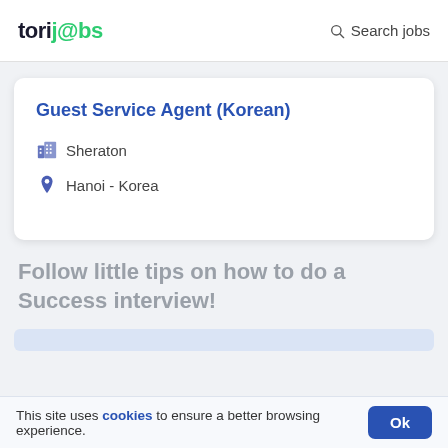torijobs  Search jobs
Guest Service Agent (Korean)
Sheraton
Hanoi - Korea
Follow little tips on how to do a Success interview!
This site uses cookies to ensure a better browsing experience.  Ok